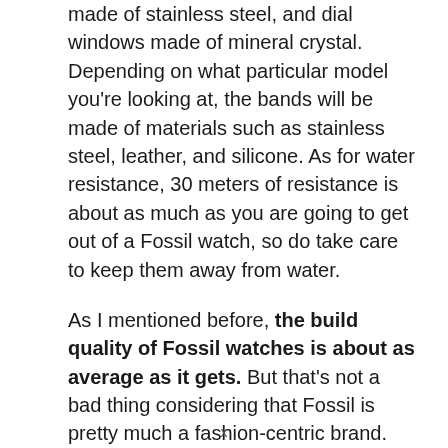made of stainless steel, and dial windows made of mineral crystal. Depending on what particular model you're looking at, the bands will be made of materials such as stainless steel, leather, and silicone. As for water resistance, 30 meters of resistance is about as much as you are going to get out of a Fossil watch, so do take care to keep them away from water.
As I mentioned before, the build quality of Fossil watches is about as average as it gets. But that's not a bad thing considering that Fossil is pretty much a fashion-centric brand. Fashion based watch brands, especially the inexpensive ones, usually
x